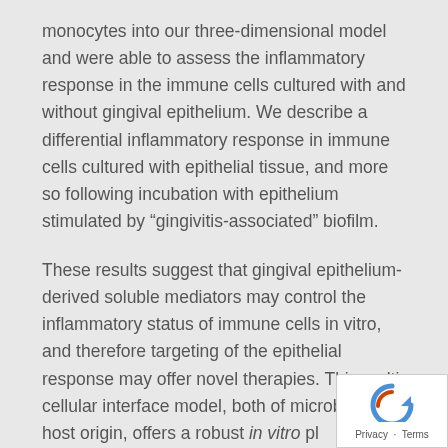monocytes into our three-dimensional model and were able to assess the inflammatory response in the immune cells cultured with and without gingival epithelium. We describe a differential inflammatory response in immune cells cultured with epithelial tissue, and more so following incubation with epithelium stimulated by “gingivitis-associated” biofilm.
These results suggest that gingival epithelium-derived soluble mediators may control the inflammatory status of immune cells in vitro, and therefore targeting of the epithelial response may offer novel therapies. This multi-cellular interface model, both of microbial and host origin, offers a robust in vitro platform to investigate host-pathogens at the epithelial surfa